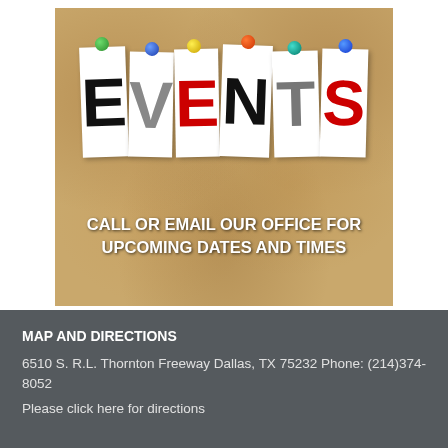[Figure (illustration): Cork board background with paper cards spelling EVENTS in large letters, each pinned with colorful thumbtacks (green, blue, yellow, orange, teal, blue). Text overlay reads: CALL OR EMAIL OUR OFFICE FOR UPCOMING DATES AND TIMES]
MAP AND DIRECTIONS
6510 S. R.L. Thornton Freeway Dallas, TX 75232 Phone: (214)374-8052
Please click here for directions